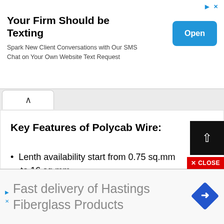[Figure (screenshot): Top banner advertisement: 'Your Firm Should be Texting' with subtitle 'Spark New Client Conversations with Our SMS Chat on Your Own Website Text Request' and blue 'Open' button]
[Figure (screenshot): Browser tab/navigation area with upward chevron back button]
Key Features of Polycab Wire:
Lenth availability start from 0.75 sq.mm to 16 sq.mm
[Figure (screenshot): Scroll-to-top button (black square with white upward arrow) and red CLOSE button]
[Figure (screenshot): Bottom advertisement: 'Fast delivery of Hastings Fiberglass Products' with blue diamond arrow logo]